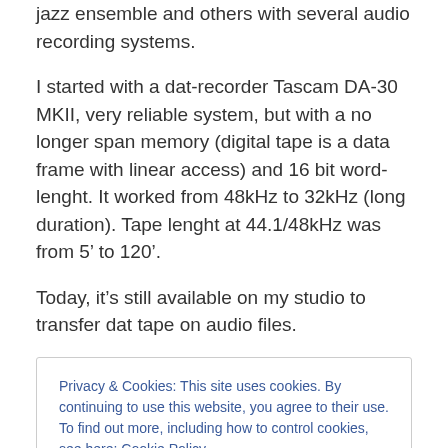jazz ensemble and others with several audio recording systems.
I started with a dat-recorder Tascam DA-30 MKII, very reliable system, but with a no longer span memory (digital tape is a data frame with linear access) and 16 bit word-lenght. It worked from 48kHz to 32kHz (long duration). Tape lenght at 44.1/48kHz was from 5’ to 120’.
Today, it’s still available on my studio to transfer dat tape on audio files.
Privacy & Cookies: This site uses cookies. By continuing to use this website, you agree to their use.
To find out more, including how to control cookies, see here: Cookie Policy
maximum recording lenght, as a consequence it was